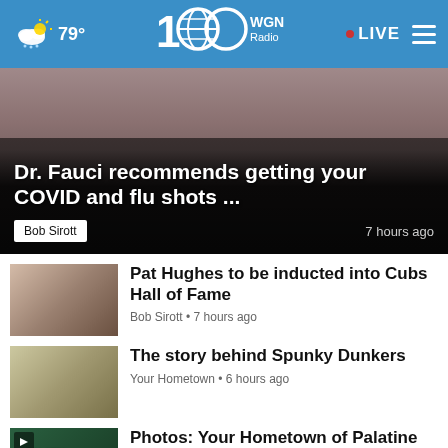WGN Radio | 79° | LIVE
[Figure (screenshot): Photo of Dr. Fauci at a microphone, close-up]
Dr. Fauci recommends getting your COVID and flu shots ...
Bob Sirott · 7 hours ago
[Figure (photo): Thumbnail photo of Pat Hughes and a woman]
Pat Hughes to be inducted into Cubs Hall of Fame
Bob Sirott • 7 hours ago
[Figure (photo): Thumbnail photo of Spunky Dunkers food]
The story behind Spunky Dunkers
Your Hometown • 6 hours ago
[Figure (photo): Thumbnail of Palatine sign with play button]
Video: Your Hometown – Palatine
Your Hometown • 1 day ago
[Figure (photo): Thumbnail of Palatine photos]
Photos: Your Hometown of Palatine